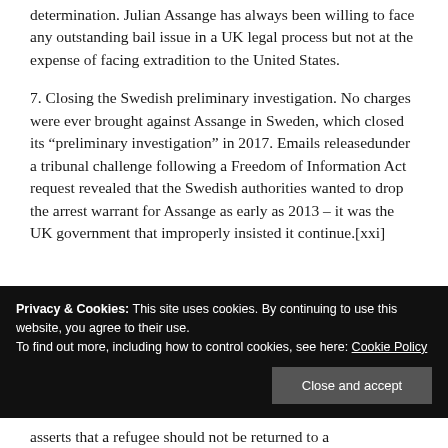determination. Julian Assange has always been willing to face any outstanding bail issue in a UK legal process but not at the expense of facing extradition to the United States.
7. Closing the Swedish preliminary investigation. No charges were ever brought against Assange in Sweden, which closed its “preliminary investigation” in 2017. Emails releasedunder a tribunal challenge following a Freedom of Information Act request revealed that the Swedish authorities wanted to drop the arrest warrant for Assange as early as 2013 – it was the UK government that improperly insisted it continue.[xxi]
Privacy & Cookies: This site uses cookies. By continuing to use this website, you agree to their use.
To find out more, including how to control cookies, see here: Cookie Policy
asserts that a refugee should not be returned to a